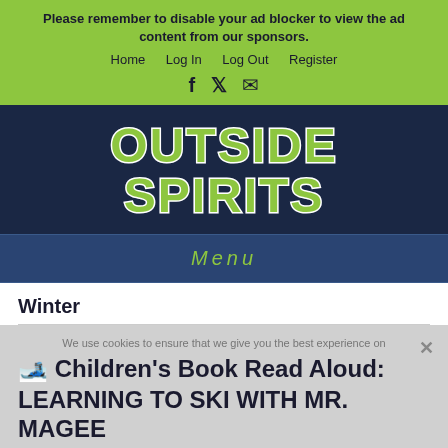Please remember to disable your ad blocker to view the ad content from our sponsors.
Home   Log In   Log Out   Register
[Figure (logo): Outside Spirits logo in green with white outline on dark navy background]
Menu
Winter
🎿 Children's Book Read Aloud: LEARNING TO SKI WITH MR. MAGEE By Chris Van Dusen